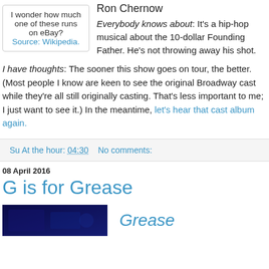I wonder how much one of these runs on eBay? Source: Wikipedia.
Ron Chernow
Everybody knows about: It's a hip-hop musical about the 10-dollar Founding Father. He's not throwing away his shot.
I have thoughts: The sooner this show goes on tour, the better. (Most people I know are keen to see the original Broadway cast while they're all still originally casting. That's less important to me; I just want to see it.) In the meantime, let's hear that cast album again.
Su At the hour: 04:30   No comments:
08 April 2016
G is for Grease
[Figure (photo): Dark blue/purple image, possibly a Grease show poster or photo]
Grease